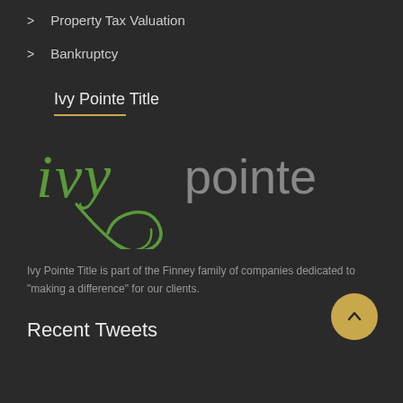> Property Tax Valuation
> Bankruptcy
Ivy Pointe Title
[Figure (logo): Ivy Pointe Title logo with stylized green 'ivy' cursive and 'pointe title' in grey sans-serif text]
Ivy Pointe Title is part of the Finney family of companies dedicated to "making a difference" for our clients.
Recent Tweets